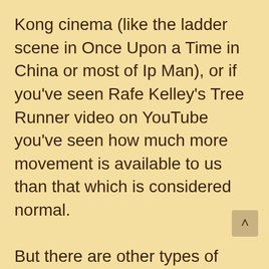Kong cinema (like the ladder scene in Once Upon a Time in China or most of Ip Man), or if you've seen Rafe Kelley's Tree Runner video on YouTube you've seen how much more movement is available to us than that which is considered normal.
But there are other types of movements.  Ones that we're mostly unaware of, but that we can still develop control over.  These are small, subtle movements. An observer might not even be able to see your body moving.  These